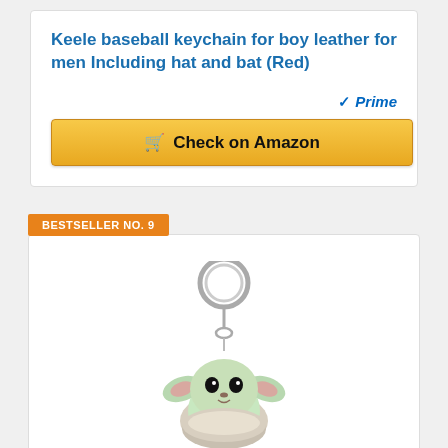Keele baseball keychain for boy leather for men Including hat and bat (Red)
[Figure (other): Amazon Prime badge with checkmark]
Check on Amazon
BESTSELLER NO. 9
[Figure (photo): Funko Pop Keychain Baby Yoda / The Child figure hanging from a metal keyring]
Funko Pop! Keychain: The